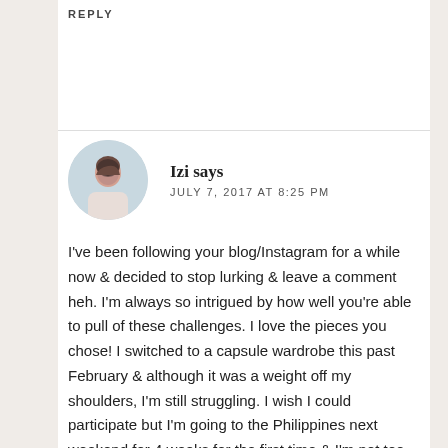REPLY
[Figure (photo): Circular avatar photo of commenter Izi, showing a person in a light colored jacket outdoors]
Izi says
JULY 7, 2017 AT 8:25 PM
I've been following your blog/Instagram for a while now & decided to stop lurking & leave a comment heh. I'm always so intrigued by how well you're able to pull of these challenges. I love the pieces you chose! I switched to a capsule wardrobe this past February & although it was a weight off my shoulders, I'm still struggling. I wish I could participate but I'm going to the Philippines next weekend for 4 weeks for the first time & I'm not too sure what to expect. I'll hopefully get to participate for the next one! (: